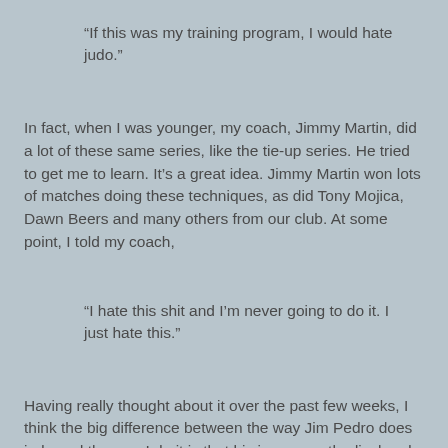“If this was my training program, I would hate judo.”
In fact, when I was younger, my coach, Jimmy Martin, did a lot of these same series, like the tie-up series. He tried to get me to learn. It’s a great idea. Jimmy Martin won lots of matches doing these techniques, as did Tony Mojica, Dawn Beers and many others from our club. At some point, I told my coach,
“I hate this shit and I’m never going to do it. I just hate this.”
Having really thought about it over the past few weeks, I think the big difference between the way Jim Pedro does judo and the way I do it is that his is very methodical and predictable. That is not a bad thing. Watching both Ronda and Jimmy, Jr. over the years, there have been many times